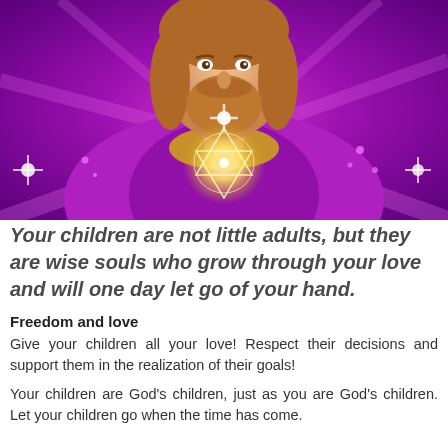[Figure (illustration): Digital illustration of a bearded man with long auburn hair and a purple/pink robe, surrounded by glowing purple and magenta light rays. A geometric star/Merkaba symbol glows on his chest in gold and white light. The background is vivid purple with pink light beams radiating outward.]
Your children are not little adults, but they are wise souls who grow through your love and will one day let go of your hand.
Freedom and love
Give your children all your love! Respect their decisions and support them in the realization of their goals!
Your children are God's children, just as you are God's children. Let your children go when the time has come.